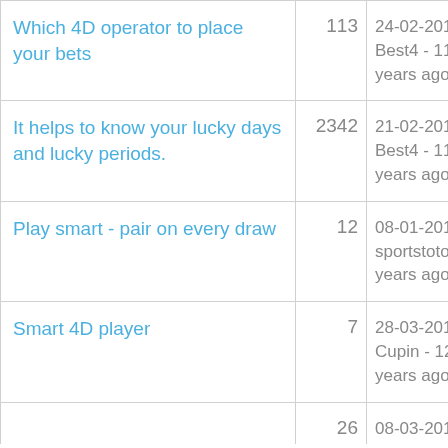| Topic | Count | Last Post |
| --- | --- | --- |
| Which 4D operator to place your bets | 113 | 24-02-2012 by Best4 - 11 years ago |
| It helps to know your lucky days and lucky periods. | 2342 | 21-02-2012 by Best4 - 11 years ago |
| Play smart - pair on every draw | 12 | 08-01-2012 by sportstoto - 11 years ago |
| Smart 4D player | 7 | 28-03-2011 by Cupin - 12 years ago |
| (partial) | 26 | 08-03-2011 by |